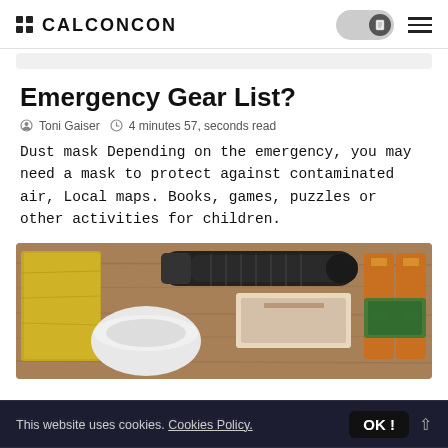CALCONCON
Emergency Gear List?
Toni Gaiser  4 minutes 57, seconds read
Dust mask Depending on the emergency, you may need a mask to protect against contaminated air, Local maps. Books, games, puzzles or other activities for children.
[Figure (photo): Top-down view of emergency gear items on a wooden surface: flashlight, batteries, bandages, matches, white container, gold foil packet]
This website uses cookies. Cookies Policy.  OK !